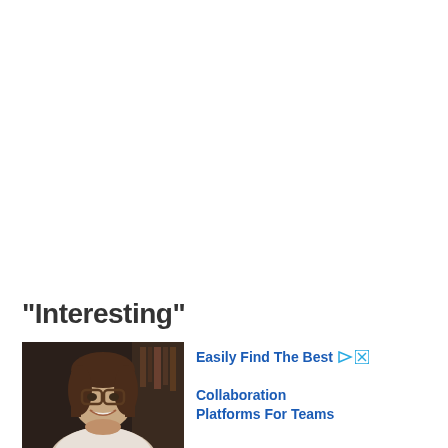“Interesting”
[Figure (photo): Smiling woman with glasses and brown hair, professional headshot style, dark background]
Easily Find The Best Collaboration Platforms For Teams
Ad